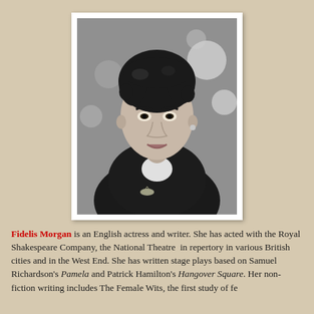[Figure (photo): Black and white headshot photograph of Fidelis Morgan, an English actress and writer, showing a woman with dark curly hair wearing a dark jacket with a brooch, against a blurred background.]
Fidelis Morgan is an English actress and writer. She has acted with the Royal Shakespeare Company, the National Theatre in repertory in various British cities and in the West End. She has written stage plays based on Samuel Richardson's Pamela and Patrick Hamilton's Hangover Square. Her non-fiction writing includes The Female Wits, the first study of female...